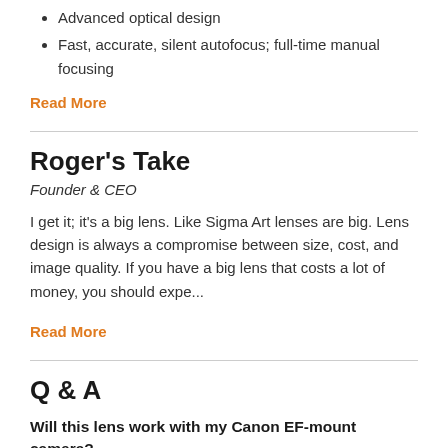Advanced optical design
Fast, accurate, silent autofocus; full-time manual focusing
Read More
Roger's Take
Founder & CEO
I get it; it's a big lens. Like Sigma Art lenses are big. Lens design is always a compromise between size, cost, and image quality. If you have a big lens that costs a lot of money, you should expe...
Read More
Q & A
Will this lens work with my Canon EF-mount camera?
Includes